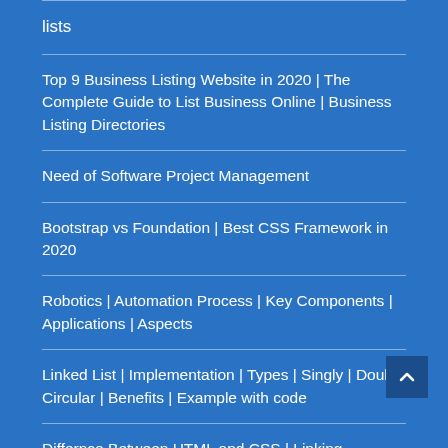lists
Top 9 Business Listing Website in 2020 | The Complete Guide to List Business Online | Business Listing Directories
Need of Software Project Management
Bootstrap vs Foundation | Best CSS Framework in 2020
Robotics | Automation Process | Key Components | Applications | Aspects
Linked List | Implementation | Types | Singly | Doubly Circular | Benefits | Example with code
Differnce Between HTML and CSS | Linking